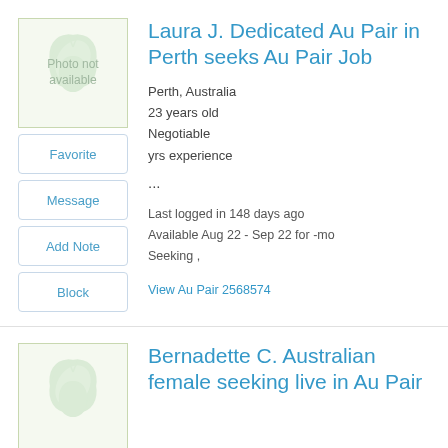Laura J. Dedicated Au Pair in Perth seeks Au Pair Job
Perth, Australia
23 years old
Negotiable
yrs experience
...
Last logged in 148 days ago
Available Aug 22 - Sep 22 for -mo
Seeking ,
View Au Pair 2568574
Bernadette C. Australian female seeking live in Au Pair